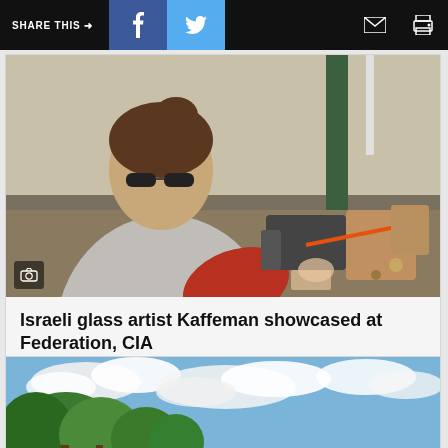SHARE THIS →  [Facebook] [Twitter] [Email] [Print]
[Figure (photo): Woman with sunglasses working at a crafting/glassblowing workbench with tools, in a workshop]
Israeli glass artist Kaffeman showcased at Federation, CIA
[Figure (photo): Outdoor landscape with trees and blue cloudy sky]